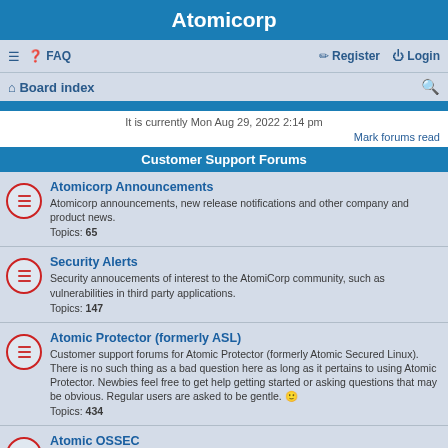Atomicorp
≡  FAQ    Register  Login
Board index
It is currently Mon Aug 29, 2022 2:14 pm
Mark forums read
Customer Support Forums
Atomicorp Announcements
Atomicorp announcements, new release notifications and other company and product news.
Topics: 65
Security Alerts
Security annoucements of interest to the AtomiCorp community, such as vulnerabilities in third party applications.
Topics: 147
Atomic Protector (formerly ASL)
Customer support forums for Atomic Protector (formerly Atomic Secured Linux). There is no such thing as a bad question here as long as it pertains to using Atomic Protector. Newbies feel free to get help getting started or asking questions that may be obvious. Regular users are asked to be gentle. 🙂
Topics: 434
Atomic OSSEC
Customer support forums for Atomic OSSEC. There is no such thing as a bad